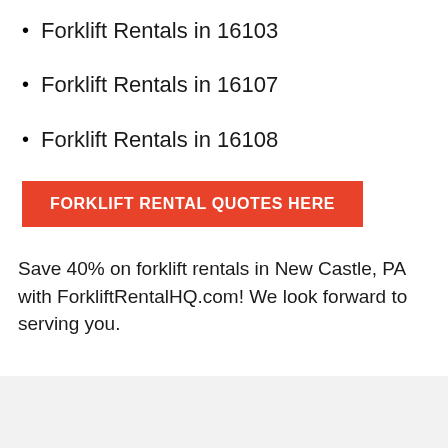Forklift Rentals in 16103
Forklift Rentals in 16107
Forklift Rentals in 16108
FORKLIFT RENTAL QUOTES HERE
Save 40% on forklift rentals in New Castle, PA with ForkliftRentalHQ.com! We look forward to serving you.
[Figure (photo): Faded background image at bottom of page]